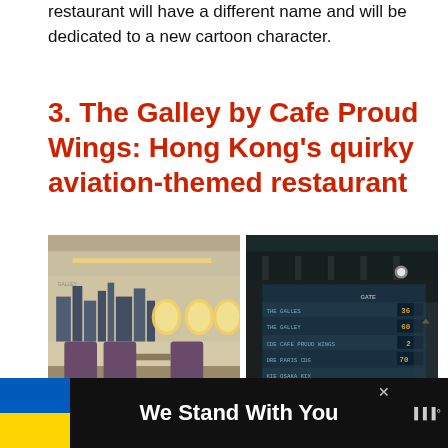restaurant will have a different name and will be dedicated to a new cartoon character.
3. The Galley by Cafe Proud Wings: Hong Kong's quirky aviation-themed restaurant
[Figure (photo): Interior of aviation-themed restaurant showing airplane-style seats and oval windows with city skyline mural on wall]
[Figure (photo): Dark interior showing an airport-style departure board with destination names including THE GALLEY, CAFE PROUD WINGS, PARIS CDG, OSAKA KIX, CHONGQING CKG with gate numbers 36, 60, 2, 70, 502]
[Figure (photo): Close-up of metallic textured surface, partially visible]
[Figure (photo): Partially visible dark interior image]
We Stand With You
[Figure (illustration): Ukrainian flag colors (blue and yellow) in advertisement banner]